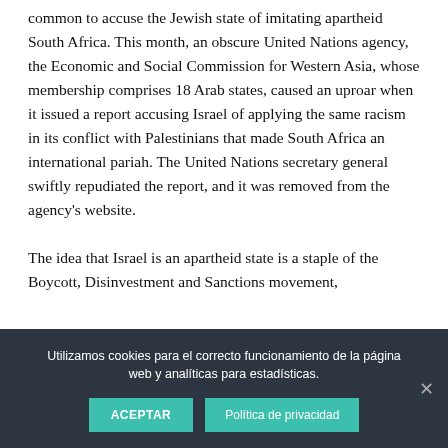Among critics of Israel, it has become ever more common to accuse the Jewish state of imitating apartheid South Africa. This month, an obscure United Nations agency, the Economic and Social Commission for Western Asia, whose membership comprises 18 Arab states, caused an uproar when it issued a report accusing Israel of applying the same racism in its conflict with Palestinians that made South Africa an international pariah. The United Nations secretary general swiftly repudiated the report, and it was removed from the agency's website.

The idea that Israel is an apartheid state is a staple of the Boycott, Disinvestment and Sanctions movement,
Utilizamos cookies para el correcto funcionamiento de la página web y analíticas para estadísticas.
ACEPTAR
Política de privacidad